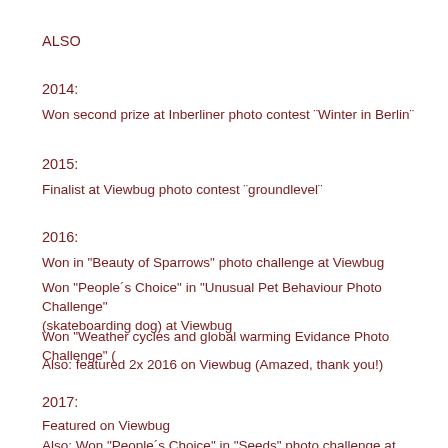ALSO
2014:
Won second prize at Inberliner photo contest ¨Winter in Berlin¨
2015:
Finalist at Viewbug photo contest ¨groundlevel¨
2016:
Won in "Beauty of Sparrows" photo challenge at Viewbug
Won "People´s Choice" in "Unusual Pet Behaviour Photo Challenge" (skateboarding dog) at Viewbug
Won "Weather cycles and global warming Evidance Photo Challenge" (
Also: featured 2x 2016 on Viewbug (Amazed, thank you!)
2017:
Featured on Viewbug
Also: Won "People´s Choice" in "Seeds" photo challenge at Viewbug